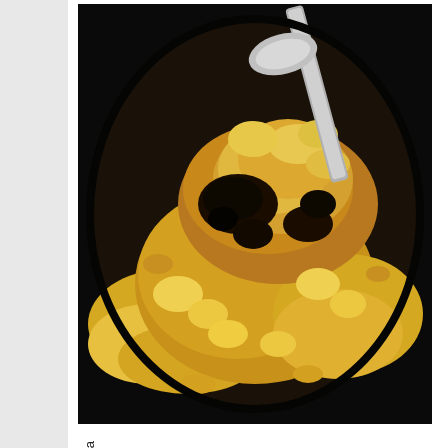[Figure (photo): A cast iron skillet containing a mixture being cooked - appears to show scrambled eggs or a similar dish with brown sugar or crumbled toppings and dark caramelized spots, being stirred with a metal spoon/spatula.]
Carefully stir and scra